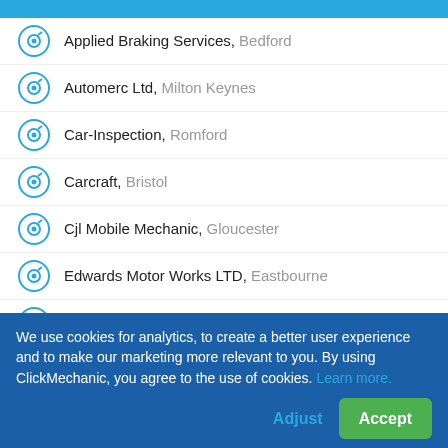Applied Braking Services, Bedford
Automerc Ltd, Milton Keynes
Car-Inspection, Romford
Carcraft, Bristol
Cjl Mobile Mechanic, Gloucester
Edwards Motor Works LTD, Eastbourne
Hoole Auto Solutions Limited, Haslemere
J Z Auto Services, Huntingdon
K S Autos & Son Limited, Liverpool
Mobile Mechanic, Whitwick
We use cookies for analytics, to create a better user experience and to make our marketing more relevant to you. By using ClickMechanic, you agree to the use of cookies. Learn more.